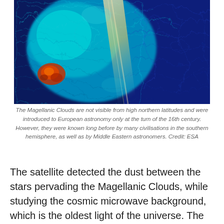[Figure (photo): False-color image of the Magellanic Clouds showing interstellar dust and magnetic field lines, rendered in swirling blues, cyans, and teals with an orange-red region at lower left and a bright diagonal streak, credited to ESA.]
The Magellanic Clouds are not visible from high northern latitudes and were introduced to European astronomy only at the turn of the 16th century. However, they were known long before by many civilisations in the southern hemisphere, as well as by Middle Eastern astronomers. Credit: ESA
The satellite detected the dust between the stars pervading the Magellanic Clouds, while studying the cosmic microwave background, which is the oldest light of the universe. The Planck detected emission from virtually anything that shone between itself and the cosmic microwave background at its sensitive frequencies.